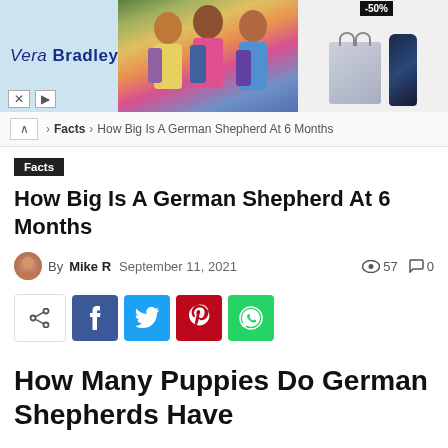[Figure (photo): Vera Bradley advertisement banner showing three women with colorful backpacks, a patterned tote bag, and a dark floral tumbler with -50% discount badge]
> Facts > How Big Is A German Shepherd At 6 Months
Facts
How Big Is A German Shepherd At 6 Months
By Mike R  September 11, 2021  👁 57  💬 0
[Figure (infographic): Social share buttons: share toggle, Facebook (f), Twitter (bird), Pinterest (p), WhatsApp]
How Many Puppies Do German Shepherds Have